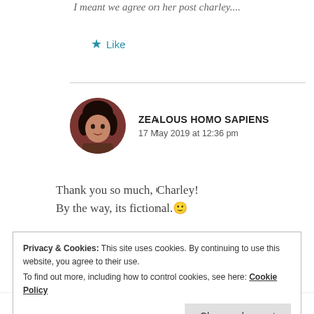I meant we agree on her post charley....
★ Like
ZEALOUS HOMO SAPIENS
17 May 2019 at 12:36 pm
Thank you so much, Charley!
By the way, its fictional.🙂
Privacy & Cookies: This site uses cookies. By continuing to use this website, you agree to their use.
To find out more, including how to control cookies, see here: Cookie Policy
Close and accept
SCRIBERLY